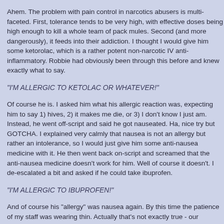Ahem. The problem with pain control in narcotics abusers is multi-faceted. First, tolerance tends to be very high, with effective doses being high enough to kill a whole team of pack mules. Second (and more dangerously), it feeds into their addiction. I thought I would give him some ketorolac, which is a rather potent non-narcotic IV anti-inflammatory. Robbie had obviously been through this before and knew exactly what to say.
"I'M ALLERGIC TO KETOLAC OR WHATEVER!"
Of course he is. I asked him what his allergic reaction was, expecting him to say 1) hives, 2) it makes me die, or 3) I don't know I just am. Instead, he went off-script and said he got nauseated. Ha, nice try but GOTCHA. I explained very calmly that nausea is not an allergy but rather an intolerance, so I would just give him some anti-nausea medicine with it. He then went back on-script and screamed that the anti-nausea medicine doesn't work for him. Well of course it doesn't. I de-escalated a bit and asked if he could take ibuprofen.
"I'M ALLERGIC TO IBUPROFEN!"
And of course his "allergy" was nausea again. By this time the patience of my staff was wearing thin. Actually that's not exactly true - our patience had completely evaporated. He started cursing at the ambulance crew, and we were now all completely fed up. About five minutes later as I was putting in an order for acetaminophen (I CAN'T TAKE THAT OR WHATEVER!!), his parents showed up. His father hobbled in with a cane, smelling like an ashtray that hadn't been cleaned in 30 years. They sized up the situation quickly - they obviously were well aware of Robbie's drug history. Mum started t